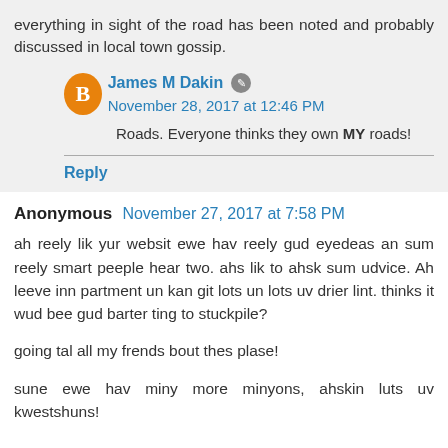everything in sight of the road has been noted and probably discussed in local town gossip.
James M Dakin — November 28, 2017 at 12:46 PM
Roads. Everyone thinks they own MY roads!
Reply
Anonymous  November 27, 2017 at 7:58 PM
ah reely lik yur websit ewe hav reely gud eyedeas an sum reely smart peeple hear two. ahs lik to ahsk sum udvice. Ah leeve inn partment un kan git lots un lots uv drier lint. thinks it wud bee gud barter ting to stuckpile?
going tal all my frends bout thes plase!
sune ewe hav miny more minyons, ahskin luts uv kwestshuns!